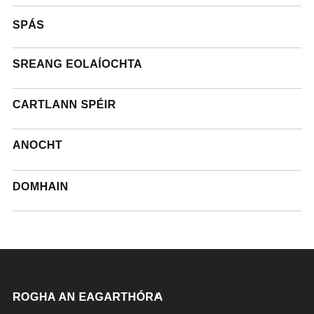SPÁS
SREANG EOLAÍOCHTA
CARTLANN SPÉIR
ANOCHT
DOMHAIN
ROGHA AN EAGARTHÓRA